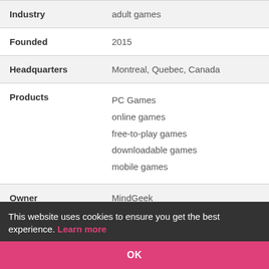| Field | Value |
| --- | --- |
| Industry | adult games |
| Founded | 2015 |
| Headquarters | Montreal, Quebec, Canada |
| Products | PC Games
online games
free-to-play games
downloadable games
mobile games |
| Owner | MindGeek |
This website uses cookies to ensure you get the best experience. Learn more